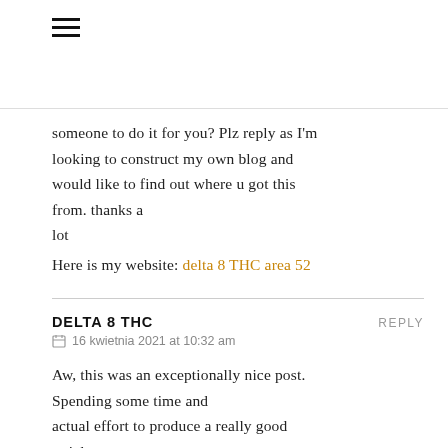[Figure (other): Hamburger menu icon (three horizontal lines)]
someone to do it for you? Plz reply as I'm looking to construct my own blog and would like to find out where u got this from. thanks a lot
Here is my website: delta 8 THC area 52
DELTA 8 THC
16 kwietnia 2021 at 10:32 am
Aw, this was an exceptionally nice post. Spending some time and actual effort to produce a really good article...